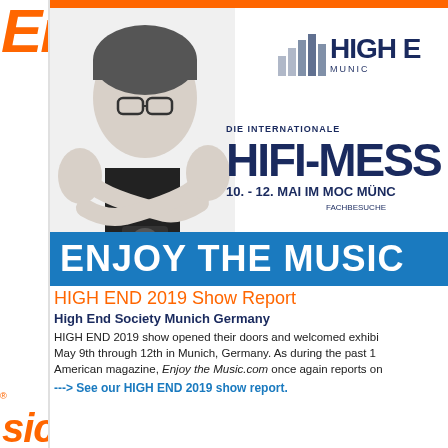[Figure (illustration): Left sidebar with large italic orange text 'Enjo' at top and 'sic.com' at bottom with registered trademark symbol, on white background with right border]
[Figure (photo): Black and white photo of a man with glasses and crossed arms, wearing black t-shirt, against white background]
[Figure (logo): High End Munich logo with bar chart icon and text 'HIGH E MUNIC']
[Figure (infographic): High End 2019 show advertisement with 'DIE INTERNATIONALE HIFI-MESSE 10.-12. MAI IM MOC MÜNC FACHBESUCHE' text and blue 'ENJOY THE MUSIC' banner]
HIGH END 2019 Show Report
High End Society Munich Germany
HIGH END 2019 show opened their doors and welcomed exhibi May 9th through 12th in Munich, Germany. As during the past 1 American magazine, Enjoy the Music.com once again reports on
---> See our HIGH END 2019 show report.